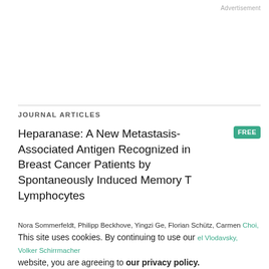Advertisement
JOURNAL ARTICLES
Heparanase: A New Metastasis-Associated Antigen Recognized in Breast Cancer Patients by Spontaneously Induced Memory T Lymphocytes
Nora Sommerfeldt, Philipp Beckhove, Yingzi Ge, Florian Schütz, Carmen Choi, Mariana Bucur, Christoph Domschke, Christof Sohn, Andreas [Beckhove], Israel Vlodavsky, Volker Schirrmacher
This site uses cookies. By continuing to use our website, you are agreeing to our privacy policy.
Accept
Journal: Cancer Research
Cancer Res (2006) 66 (15): 7716–7723.